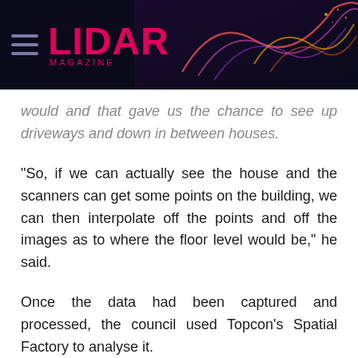LIDAR MAGAZINE
would and that gave us the chance to see up driveways and down in between houses.
"So, if we can actually see the house and the scanners can get some points on the building, we can then interpolate off the points and off the images as to where the floor level would be," he said.
Once the data had been captured and processed, the council used Topcon’s Spatial Factory to analyse it.
By going through each image and clicking on the floor, its survey team can create points for